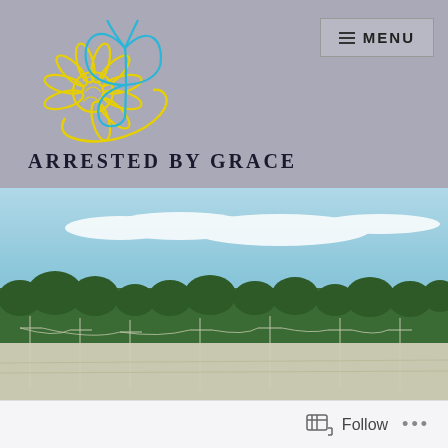[Figure (logo): Arrested By Grace logo: yellow sunflower outline with blue butterfly outline]
ARRESTED BY GRACE
[Figure (photo): Outdoor landscape photo showing trees, power lines, blue sky with clouds]
Follow ...